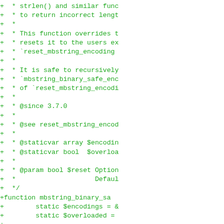Code diff showing PHP function mbstring_binary_safe_encoding with comments about strlen() overriding mbstring encoding, static vars, param docs, and function body with is_null/overloaded checks.